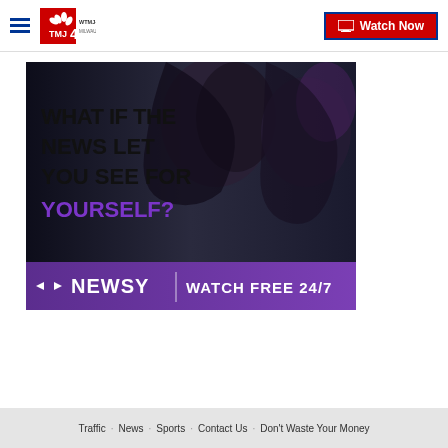WTMJ-TV MILWAUKEE | Watch Now
[Figure (illustration): Newsy advertisement banner: dark background with silhouetted faces, text 'WHAT IF THE NEWS LET YOU SEE FOR YOURSELF?' in black and purple, Newsy logo with tagline 'WATCH FREE 24/7' on purple bottom bar]
Traffic · News · Sports · Contact Us · Don't Waste Your Money